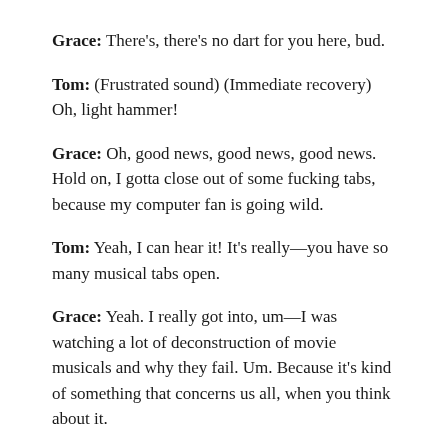Grace: There's, there's no dart for you here, bud.
Tom: (Frustrated sound) (Immediate recovery) Oh, light hammer!
Grace: Oh, good news, good news, good news. Hold on, I gotta close out of some fucking tabs, because my computer fan is going wild.
Tom: Yeah, I can hear it! It's really—you have so many musical tabs open.
Grace: Yeah. I really got into, um—I was watching a lot of deconstruction of movie musicals and why they fail. Um. Because it's kind of something that concerns us all, when you think about it.